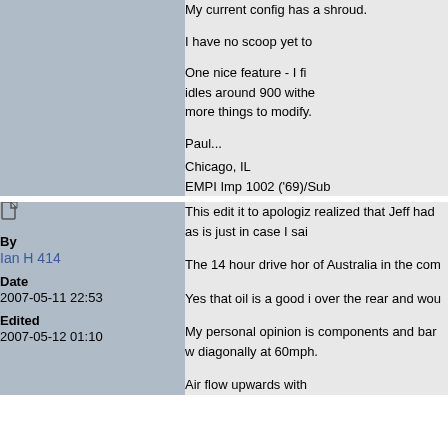My current config has a shroud.
I have no scoop yet to
One nice feature - I fi idles around 900 withe more things to modify.
Paul...
Chicago, IL
EMPI Imp 1002 ('69)/Sub
[Figure (other): Document/page icon]
By
Ian H 414
Date
2007-05-11 22:53
Edited
2007-05-12 01:10
This edit it to apologiz realized that Jeff had as is just in case I sai
The 14 hour drive hor of Australia in the com
Yes that oil is a good i over the rear and wou
My personal opinion is components and bar w diagonally at 60mph.
Air flow upwards with